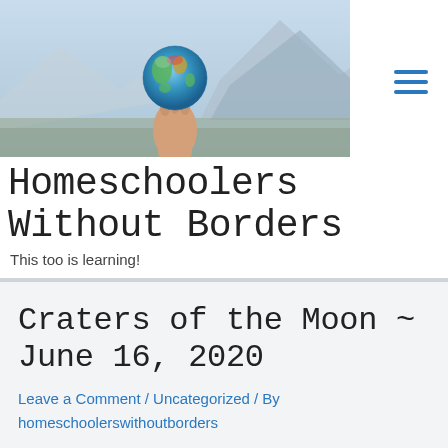[Figure (photo): A hand holding a small globe/Earth ball against a blue sky and mountain backdrop, serving as the website header image for Homeschoolers Without Borders]
Homeschoolers Without Borders
This too is learning!
Craters of the Moon ~ June 16, 2020
Leave a Comment / Uncategorized / By homeschoolerswithoutborders
Our Tuesday morning was quiet and laidback. Lover